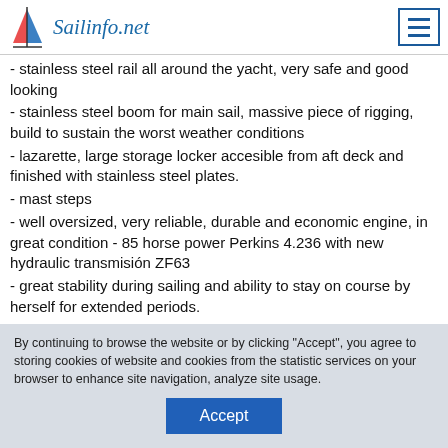Sailinfo.net
- stainless steel rail all around the yacht, very safe and good looking
- stainless steel boom for main sail, massive piece of rigging, build to sustain the worst weather conditions
- lazarette, large storage locker accesible from aft deck and finished with stainless steel plates.
- mast steps
- well oversized, very reliable, durable and economic engine, in great condition - 85 horse power Perkins 4.236 with new hydraulic transmisión ZF63
- great stability during sailing and ability to stay on course by herself for extended periods.
By continuing to browse the website or by clicking "Accept", you agree to storing cookies of website and cookies from the statistic services on your browser to enhance site navigation, analyze site usage.